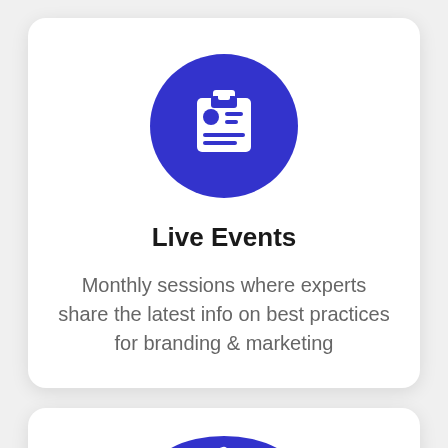[Figure (illustration): Blue circle with white badge/ID card icon showing a person silhouette and lines representing text]
Live Events
Monthly sessions where experts share the latest info on best practices for branding & marketing
[Figure (illustration): Blue circle with white thumbs up icon (partially visible, card cut off)]